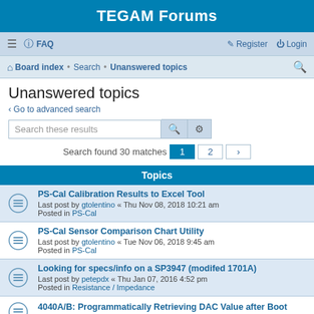TEGAM Forums
≡ FAQ  Register Login
Board index · Search · Unanswered topics
Unanswered topics
< Go to advanced search
Search these results
Search found 30 matches  1  2  >
Topics
PS-Cal Calibration Results to Excel Tool
Last post by gtolentino « Thu Nov 08, 2018 10:21 am
Posted in PS-Cal
PS-Cal Sensor Comparison Chart Utility
Last post by gtolentino « Tue Nov 06, 2018 9:45 am
Posted in PS-Cal
Looking for specs/info on a SP3947 (modifed 1701A)
Last post by petepdx « Thu Jan 07, 2016 4:52 pm
Posted in Resistance / Impedance
4040A/B: Programmatically Retrieving DAC Value after Boot
Last post by gtolentino « Tue Sep 29, 2015 8:52 ...